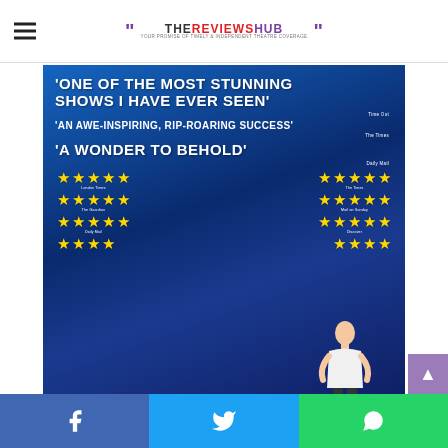THE REVIEWS HUB
[Figure (photo): Theatre show promotional poster on a deep blue/cosmic background. Large white bold text quotes: 'ONE OF THE MOST STUNNING SHOWS I HAVE EVER SEEN' (Time Out), 'AN AWE-INSPIRING, RIP-ROARING SUCCESS' (The Times), 'A WONDER TO BEHOLD' (Daily Mail). Below the quotes are four rows of five-star ratings from various publications including London Times, The Times, The Guardian, Mail on Sunday, Daily Mail, and Discover. A performer in a white vest is visible in the lower right.]
Share on Facebook | Share on Twitter | Share on WhatsApp